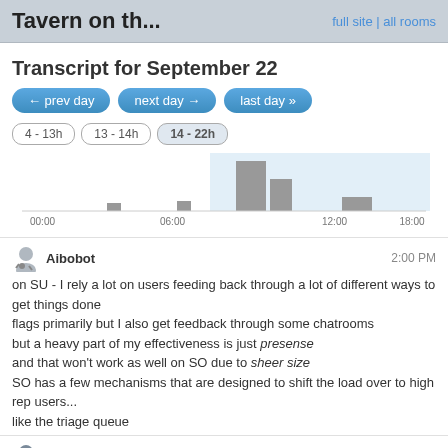Tavern on th... | full site | all rooms
Transcript for September 22
← prev day   next day →   last day »
4 - 13h   13 - 14h   14 - 22h
[Figure (histogram): Activity chart]
Aibobot  2:00 PM
on SU - I rely a lot on users feeding back through a lot of different ways to get things done
flags primarily but I also get feedback through some chatrooms
but a heavy part of my effectiveness is just presense
and that won't work as well on SO due to sheer size
SO has a few mechanisms that are designed to shift the load over to high rep users...
like the triage queue
Meta Andrew T.  2:02 PM
Looks like someone is right that they need 30000 mods on SO...
Aibobot  2:02 PM
but if even that gets overwhelming, things get fun...